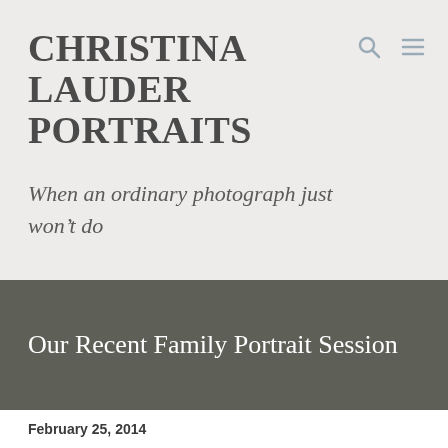CHRISTINA LAUDER PORTRAITS
When an ordinary photograph just won't do
Our Recent Family Portrait Session
February 25, 2014